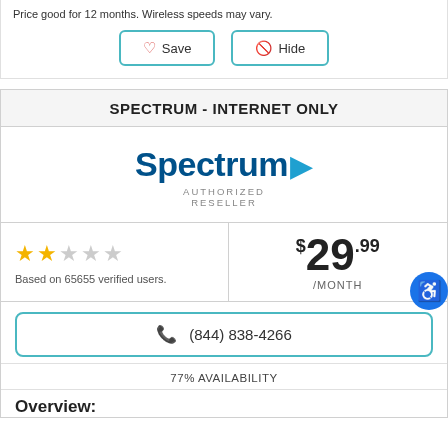Price good for 12 months. Wireless speeds may vary.
Save  Hide
SPECTRUM - INTERNET ONLY
[Figure (logo): Spectrum Authorized Reseller logo in dark blue and light blue]
Based on 65655 verified users.
$29.99 /MONTH
(844) 838-4266
77% AVAILABILITY
Overview: